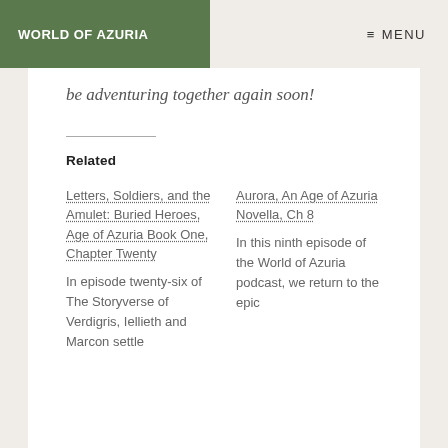WORLD OF AZURIA   ≡ MENU
be adventuring together again soon!
Related
Letters, Soldiers, and the Amulet: Buried Heroes, Age of Azuria Book One, Chapter Twenty
In episode twenty-six of The Storyverse of Verdigris, Iellieth and Marcon settle
Aurora, An Age of Azuria Novella, Ch 8
In this ninth episode of the World of Azuria podcast, we return to the epic